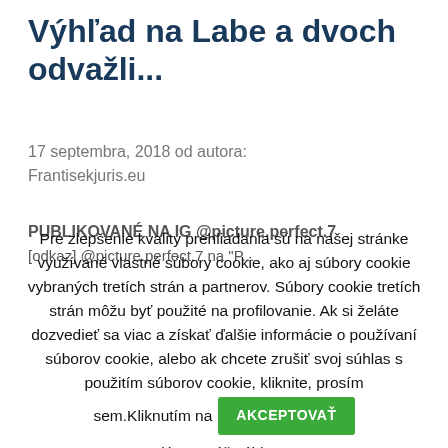Výhľad na Labe a dvoch odvažli...
17 septembra, 2018 od autora: Frantisekjuris.eu
PUBLIKOVANÉ NA IG @picture.perfect.7
Pre zlepšenie kvality prehliadania sú na našej stránke využívané vlastné súbory cookie, ako aj súbory cookie vybraných tretích strán a partnerov. Súbory cookie tretích strán môžu byť použité na profilovanie. Ak si želáte dozvedieť sa viac a získať ďalšie informácie o používaní súborov cookie, alebo ak chcete zrušiť svoj súhlas s použitím súborov cookie, kliknite, prosím sem.Kliknutím na AKCEPTOVAŤ dávate váš súhlas s použitím súborov cookie na naších stránkach.